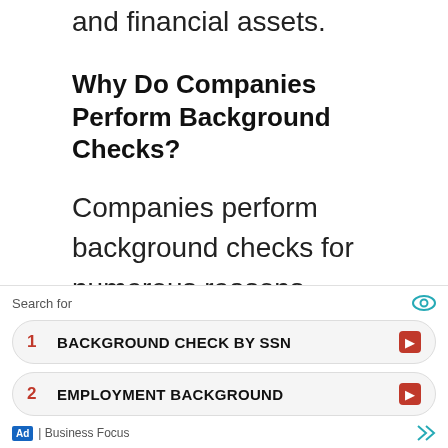and financial assets.
Why Do Companies Perform Background Checks?
Companies perform background checks for numerous reasons. Companies use background checks to protect themselves from potential liability issues in the future. If a company hires a bad employee, there is a risk that
[Figure (screenshot): Advertisement overlay with search bar label, two result rows for 'BACKGROUND CHECK BY SSN' and 'EMPLOYMENT BACKGROUND', and a footer showing 'Ad | Business Focus']